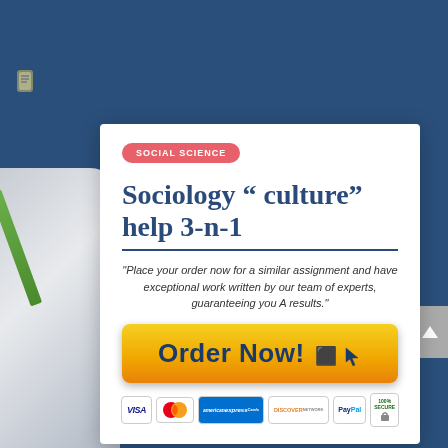[Figure (screenshot): Dark blue website background with desk/pencil illustration on left side]
SOCIAL SCIENCE
Sociology " culture" help 3-n-1
"Place your order now for a similar assignment and have exceptional work written by our team of experts, guaranteeing you A results."
[Figure (infographic): Order Now button with cursor icon]
[Figure (infographic): Payment badges: VISA, MasterCard, American Express, Discover, PayPal, 100% Secure SSL Encryption]